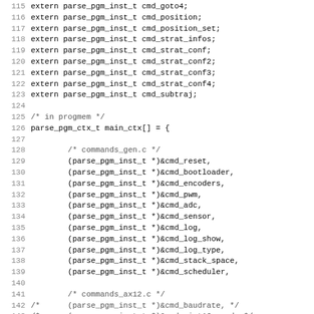Code listing lines 115-146, C source code with extern declarations and array initialization
115 extern parse_pgm_inst_t cmd_goto4;
116 extern parse_pgm_inst_t cmd_position;
117 extern parse_pgm_inst_t cmd_position_set;
118 extern parse_pgm_inst_t cmd_strat_infos;
119 extern parse_pgm_inst_t cmd_strat_conf;
120 extern parse_pgm_inst_t cmd_strat_conf2;
121 extern parse_pgm_inst_t cmd_strat_conf3;
122 extern parse_pgm_inst_t cmd_strat_conf4;
123 extern parse_pgm_inst_t cmd_subtraj;
124
125 /* in progmem */
126 parse_pgm_ctx_t main_ctx[] = {
127
128         /* commands_gen.c */
129         (parse_pgm_inst_t *)&cmd_reset,
130         (parse_pgm_inst_t *)&cmd_bootloader,
131         (parse_pgm_inst_t *)&cmd_encoders,
132         (parse_pgm_inst_t *)&cmd_pwm,
133         (parse_pgm_inst_t *)&cmd_adc,
134         (parse_pgm_inst_t *)&cmd_sensor,
135         (parse_pgm_inst_t *)&cmd_log,
136         (parse_pgm_inst_t *)&cmd_log_show,
137         (parse_pgm_inst_t *)&cmd_log_type,
138         (parse_pgm_inst_t *)&cmd_stack_space,
139         (parse_pgm_inst_t *)&cmd_scheduler,
140
141         /* commands_ax12.c */
142 /*      (parse_pgm_inst_t *)&cmd_baudrate, */
143 /*      (parse_pgm_inst_t *)&cmd_uint16_read, */
144 /*      (parse_pgm_inst_t *)&cmd_uint16_write, */
145 /*      (parse_pgm_inst_t *)&cmd_uint8_read, */
146 /*      (parse_pgm_inst_t *)&cmd_uint8_write, */